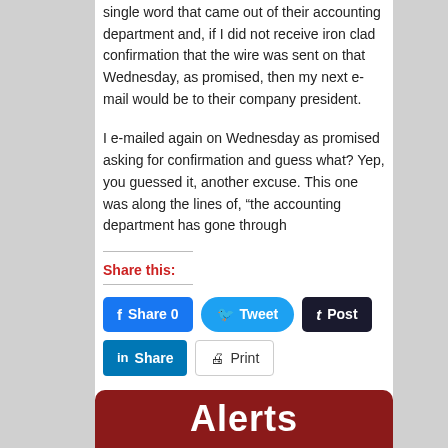single word that came out of their accounting department and, if I did not receive iron clad confirmation that the wire was sent on that Wednesday, as promised, then my next e-mail would be to their company president.
I e-mailed again on Wednesday as promised asking for confirmation and guess what? Yep, you guessed it, another excuse. This one was along the lines of, “the accounting department has gone through
Share this:
[Figure (screenshot): Social sharing buttons: Facebook Share 0, Twitter Tweet, Tumblr Post, LinkedIn Share, Print]
[Figure (infographic): Red banner with white text reading 'Alerts' partially visible at bottom of page]